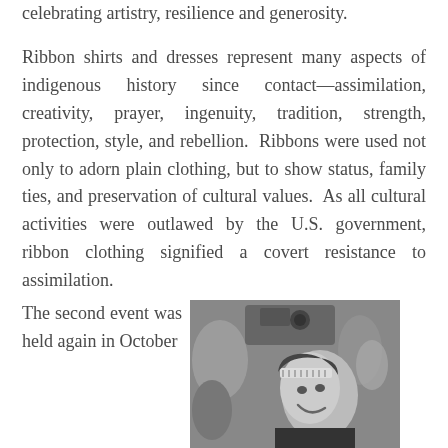celebrating artistry, resilience and generosity.
Ribbon shirts and dresses represent many aspects of indigenous history since contact—assimilation, creativity, prayer, ingenuity, tradition, strength, protection, style, and rebellion.  Ribbons were used not only to adorn plain clothing, but to show status, family ties, and preservation of cultural values.  As all cultural activities were outlawed by the U.S. government, ribbon clothing signified a covert resistance to assimilation.
The second event was held again in October
[Figure (photo): Black and white photograph of a smiling young person wearing a decorative headband, with people and cameras visible in the background, appearing to be at an event or gathering.]